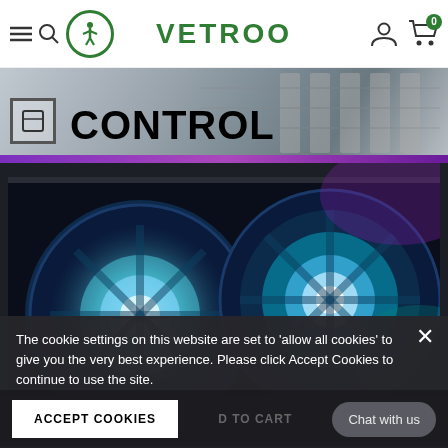VETROO
[Figure (screenshot): CONTROL banner with circuit board background image]
[Figure (photo): PC case interior with two RGB fans glowing blue/cyan and purple lighting]
The cookie settings on this website are set to 'allow all cookies' to give you the very best experience. Please click Accept Cookies to continue to use the site.
ACCEPT COOKIES
Chat with us